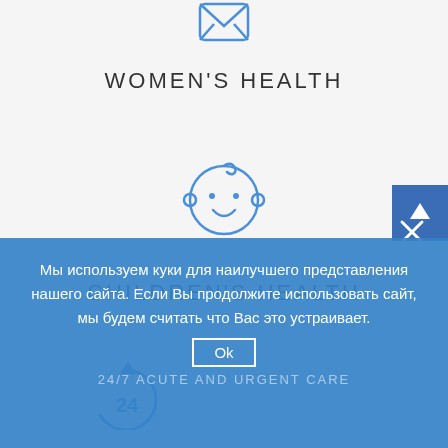[Figure (illustration): Blue outline icon of a medical/women health symbol (envelope/uterus icon) partially visible at top]
WOMEN'S HEALTH
[Figure (illustration): Blue outline icon of a baby face with smile and small hair curl]
CHILDREN'S HEALTH
[Figure (illustration): Blue circular arrow icon with '24' — partial 24/7 acute care icon]
Мы используем куки для наилучшего представления нашего сайта. Если Вы продолжите использовать сайт, мы будем считать что Вас это устраивает.
Ok
24/7 ACUTE AND URGENT CARE